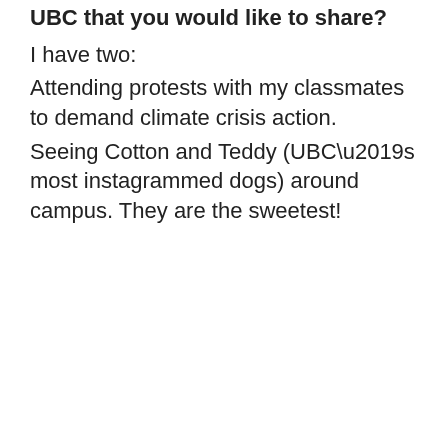UBC that you would like to share?
I have two:
Attending protests with my classmates to demand climate crisis action.
Seeing Cotton and Teddy (UBC’s most instagrammed dogs) around campus. They are the sweetest!